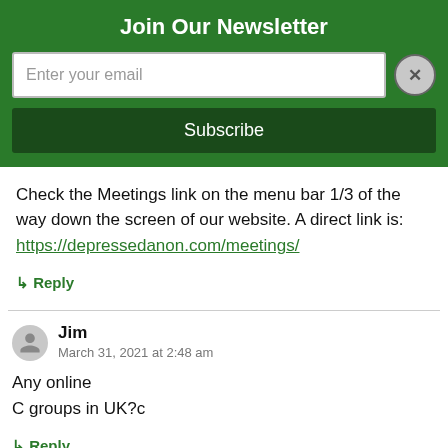Join Our Newsletter
Enter your email
Subscribe
Check the Meetings link on the menu bar 1/3 of the way down the screen of our website. A direct link is: https://depressedanon.com/meetings/
↳ Reply
Jim
March 31, 2021 at 2:48 am
Any online
C groups in UK?c
↳ Reply